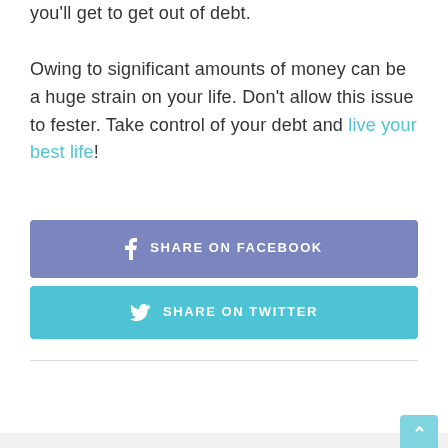you'll get to get out of debt. Owing to significant amounts of money can be a huge strain on your life. Don't allow this issue to fester. Take control of your debt and live your best life!
[Figure (other): Share on Facebook button (purple/blue rounded rectangle with Facebook f icon)]
[Figure (other): Share on Twitter button (cyan/teal rounded rectangle with Twitter bird icon)]
ADD A COMMENT